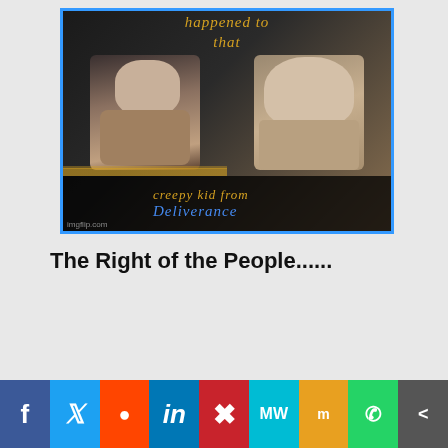[Figure (photo): A meme image with dark background showing two faces side by side — a young boy and an older man — with text overlay reading 'happened to that' at top in gold italic, and 'creepy kid from Deliverance' at bottom in gold and blue italic text. The image has a blue border and an imgflip.com watermark.]
The Right of the People......
[Figure (infographic): Social media sharing bar with icons for Facebook, Twitter, Reddit, LinkedIn, Pinterest, MeWe, Mix, WhatsApp, and a share icon.]